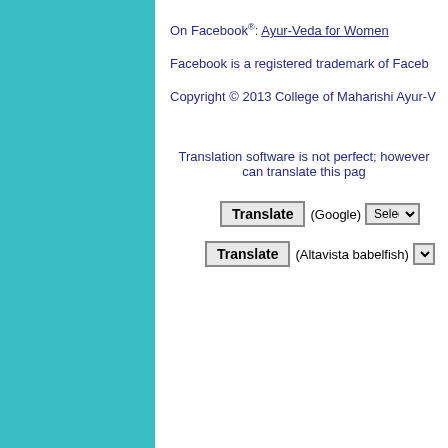On Facebook®: Ayur-Veda for Women
Facebook is a registered trademark of Faceb...
Copyright © 2013 College of Maharishi Ayur-V...
Translation software is not perfect; however can translate this page...
Translate (Google) [Select a language]
Translate (Altavista babelfish) [S...]